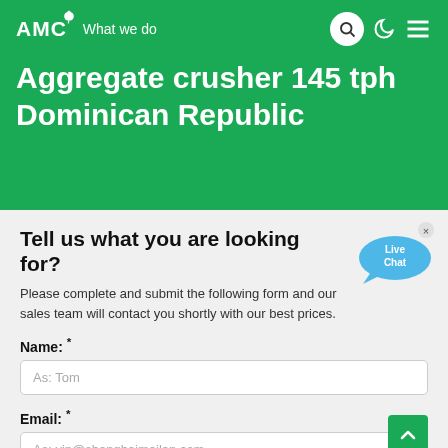AMC - What we do
Aggregate crusher 145 tph Dominican Republic
Tell us what you are looking for?
Please complete and submit the following form and our sales team will contact you shortly with our best prices.
Name: *
As: Tom
Email: *
As: vip@shanghaimeilan.com
Phone: *
With Country Code